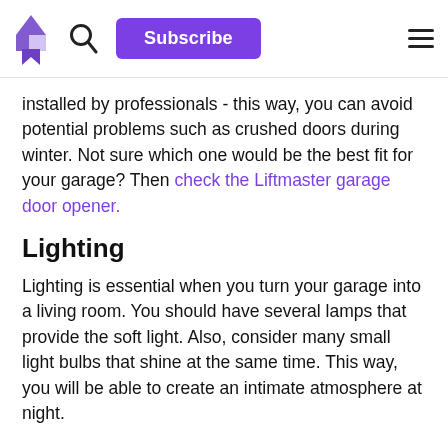[Logo] [Search] Subscribe [Menu]
installed by professionals - this way, you can avoid potential problems such as crushed doors during winter. Not sure which one would be the best fit for your garage? Then check the Liftmaster garage door opener.
Lighting
Lighting is essential when you turn your garage into a living room. You should have several lamps that provide the soft light. Also, consider many small light bulbs that shine at the same time. This way, you will be able to create an intimate atmosphere at night.